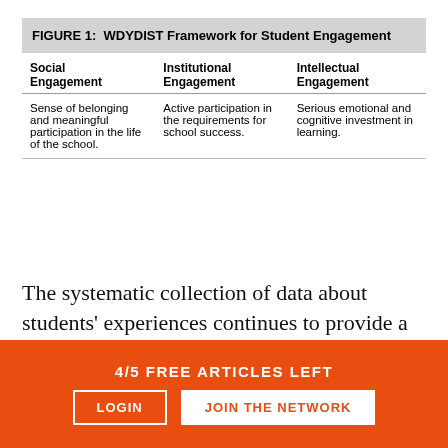| Social Engagement | Institutional Engagement | Intellectual Engagement |
| --- | --- | --- |
| Sense of belonging and meaningful participation in the life of the school. | Active participation in the requirements for school success. | Serious emotional and cognitive investment in learning. |
The systematic collection of data about students' experiences continues to provide a foundation for inquiries into creating more effective and engaging
4/5 FREE ARTICLES LEFT